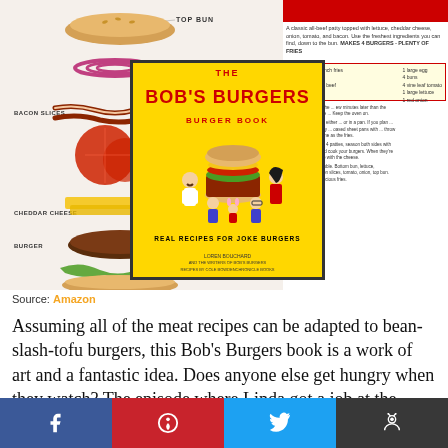[Figure (illustration): An exploded/layered burger diagram showing ingredients from top to bottom: top bun, onion rings, bacon slices, tomato slices, cheddar cheese, burger patty, lettuce, bottom bun. Labels indicate each ingredient. Overlaid with the Bob's Burgers Burger Book cover (yellow background, red text, cartoon characters). Right side shows recipe text with ingredients list and numbered steps.]
Source: Amazon
Assuming all of the meat recipes can be adapted to bean-slash-tofu burgers, this Bob's Burgers book is a work of art and a fantastic idea. Does anyone else get hungry when they watch? The episode where Linda got a job at the grocery store and took valuable time away from the burger joint
[Figure (other): Social media sharing buttons: Facebook (blue), Pinterest (red), Twitter (cyan), Reddit (dark gray)]